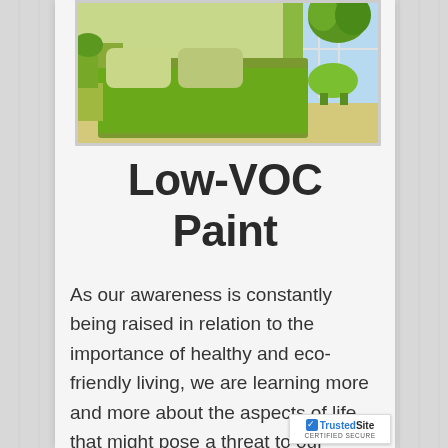[Figure (photo): Bedroom scene with green bedding, pillows, and plants in a bright room with natural light]
Low-VOC Paint
As our awareness is constantly being raised in relation to the importance of healthy and eco-friendly living, we are learning more and more about the aspects of life that might pose a threat to our health or the environment and how to improve our living conditions.